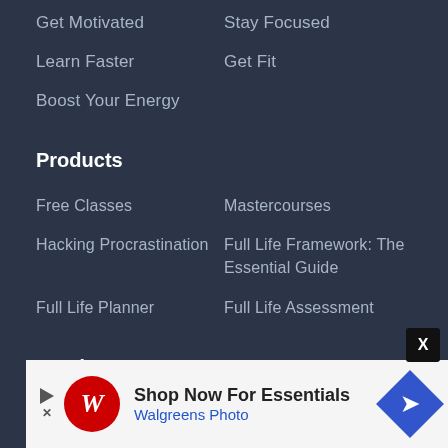Get Motivated
Stay Focused
Learn Faster
Get Fit
Boost Your Energy
Products
Free Classes
Mastercourses
Hacking Procrastination
Full Life Framework: The Essential Guide
Full Life Planner
Full Life Assessment
Academy
Login
Full Life Framework
Make it Happen
Get In Touch
Contact
[Figure (other): Walgreens Photo advertisement banner with logo, 'Shop Now For Essentials' text, and navigation arrow icon]